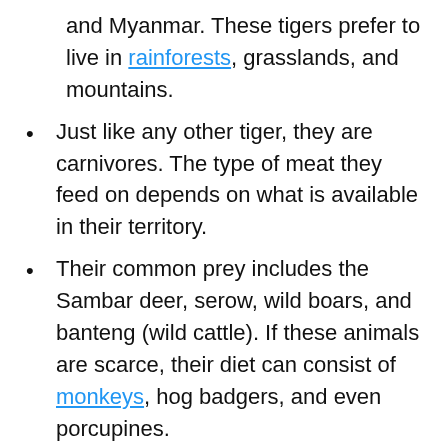and Myanmar. These tigers prefer to live in rainforests, grasslands, and mountains.
Just like any other tiger, they are carnivores. The type of meat they feed on depends on what is available in their territory.
Their common prey includes the Sambar deer, serow, wild boars, and banteng (wild cattle). If these animals are scarce, their diet can consist of monkeys, hog badgers, and even porcupines.
These tigers also have a rough tongue, long whiskers, and piercing yellow eyes